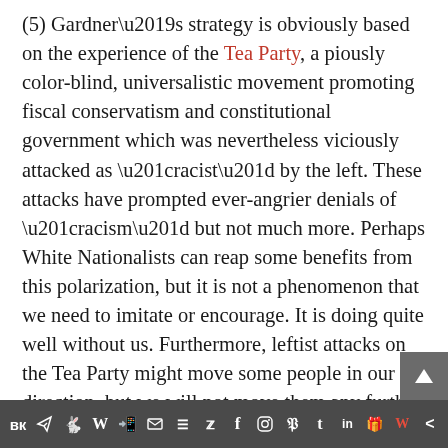(5) Gardner's strategy is obviously based on the experience of the Tea Party, a piously color-blind, universalistic movement promoting fiscal conservatism and constitutional government which was nevertheless viciously attacked as “racist” by the left. These attacks have prompted ever-angrier denials of “racism” but not much more. Perhaps White Nationalists can reap some benefits from this polarization, but it is not a phenomenon that we need to imitate or encourage. It is doing quite well without us. Furthermore, leftist attacks on the Tea Party might move some people in our direction, but we will not move them any further unless we stay
VK Telegram Reddit WordPress WhatsApp Email Buffer Twitter Facebook Instagram Pinterest Tumblr LinkedIn Gift Wattpad Share